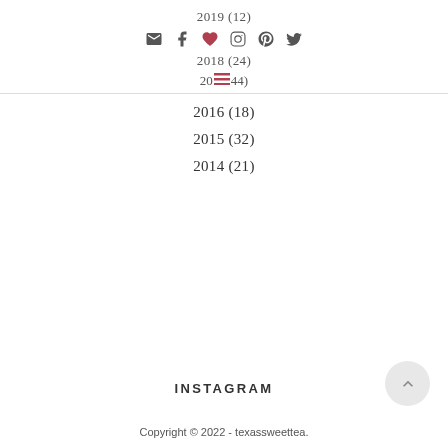2019 (12)
[Figure (other): Social media icon bar with email, facebook, heart/bloglovin, instagram, pinterest, twitter icons]
2018 (24)
2017 (44) with hamburger menu icon
2016 (18)
2015 (32)
2014 (21)
INSTAGRAM
Copyright © 2022 - texassweettea.